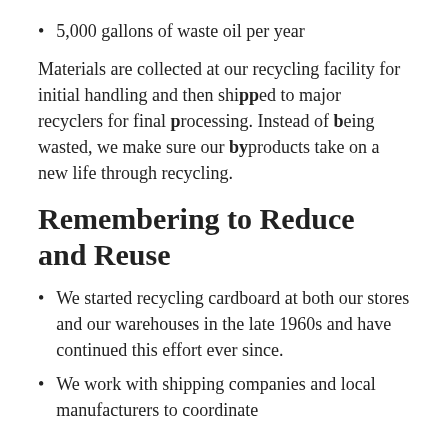5,000 gallons of waste oil per year
Materials are collected at our recycling facility for initial handling and then shipped to major recyclers for final processing. Instead of being wasted, we make sure our byproducts take on a new life through recycling.
Remembering to Reduce and Reuse
We started recycling cardboard at both our stores and our warehouses in the late 1960s and have continued this effort ever since.
We work with shipping companies and local manufacturers to coordinate